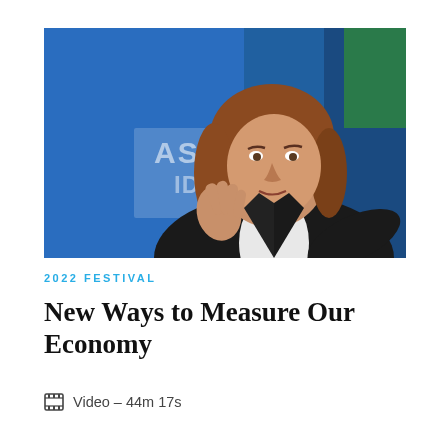[Figure (photo): A woman with shoulder-length auburn hair gesturing with her hands while speaking. She is wearing a dark blazer over a white shirt. The background shows a blue stage backdrop with partial text visible reading 'Aspen Ideas Festival'.]
2022 FESTIVAL
New Ways to Measure Our Economy
Video – 44m 17s